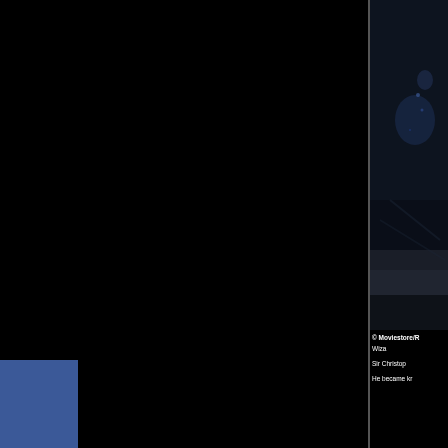[Figure (photo): Dark bluish movie still showing a figure in rain or dark atmosphere, partially cropped on the right side of the page]
© Moviestore/R
Wiza
Sir Christop
He became kr
[Figure (logo): Facebook blue button/tab on the left side with 'Facebook' text written vertically]